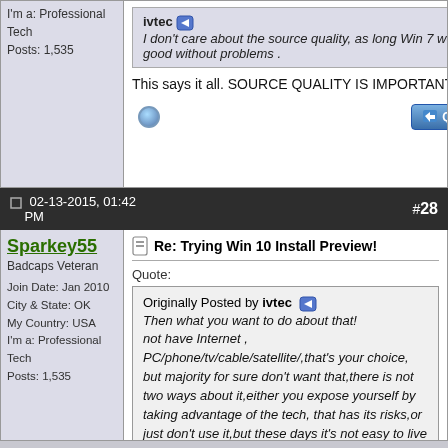I'm a: Professional Tech
Posts: 1,535
I don't care about the source quality, as long Win 7 works good without problems .
This says it all. SOURCE QUALITY IS IMPORTANT.
02-13-2015, 01:42 PM   #28
Sparkey55
Badcaps Veteran
Join Date: Jan 2010
City & State: OK
My Country: USA
I'm a: Professional Tech
Posts: 1,535
Re: Trying Win 10 Install Preview!
Quote:
Originally Posted by ivtec
Then what you want to do about that!
not have Internet , PC/phone/tv/cable/satellite/,that's your choice, but majority for sure don't want that,there is not two ways about it,either you expose yourself by taking advantage of the tech, that has its risks,or just don't use it,but these days it's not easy to live without it...